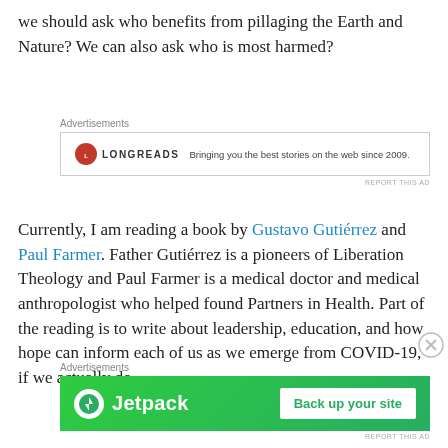we should ask who benefits from pillaging the Earth and Nature? We can also ask who is most harmed?
[Figure (other): Longreads advertisement banner: red circle logo with 'LONGREADS' text and tagline 'Bringing you the best stories on the web since 2009.']
Currently, I am reading a book by Gustavo Gutiérrez and Paul Farmer. Father Gutiérrez is a pioneers of Liberation Theology and Paul Farmer is a medical doctor and medical anthropologist who helped found Partners in Health. Part of the reading is to write about leadership, education, and how hope can inform each of us as we emerge from COVID-19, if we actually do.
[Figure (other): Jetpack advertisement banner: green background with Jetpack logo and 'Back up your site' button.]